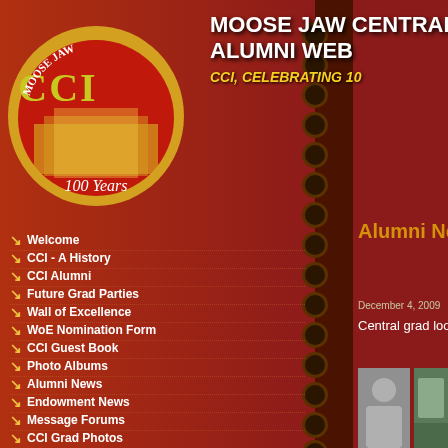[Figure (logo): Moose Jaw CCI 100 Years logo — circular gold and red emblem with building illustration]
MOOSE JAW CENTRAL ALUMNI WEB CCI, CELEBRATING 10
Welcome
CCI - A History
CCI Alumni
Future Grad Parties
Wall of Excellence
WoE Nomination Form
CCI Guest Book
Photo Albums
Alumni News
Endowment News
Message Forums
CCI Grad Photos
Contact Us
Alumni News
December 4, 2009
Central grad looks back to '41
[Figure (photo): Black and white vintage photo of a woman standing outdoors in a long coat]
[Figure (photo): Color photo of a building exterior with trees]